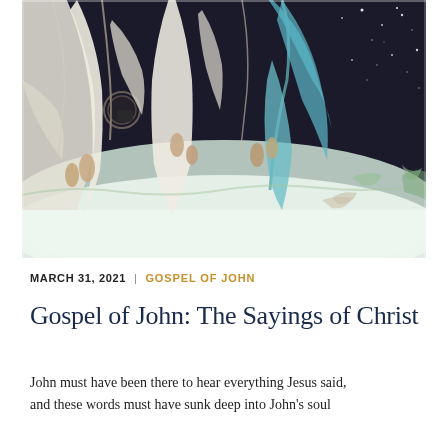[Figure (illustration): A religious painting depicting angels and figures in white and teal robes, with a dark starry background. Figures appear to be floating or descending, with dramatic flowing fabric and feathered wings.]
MARCH 31, 2021  |  GOSPEL OF JOHN
Gospel of John: The Sayings of Christ
John must have been there to hear everything Jesus said, and these words must have sunk deep into John's soul